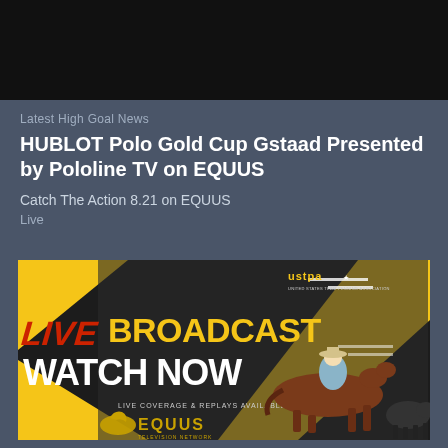[Figure (photo): Black video player area at top of page]
Latest High Goal News
HUBLOT Polo Gold Cup Gstaad Presented by Pololine TV on EQUUS
Catch The Action 8.21 on EQUUS
Live
[Figure (infographic): USTPA Live Broadcast Watch Now advertisement banner featuring a cowboy on horseback chasing a calf, with yellow triangles on dark background, EQUUS logo, and text LIVE BROADCAST WATCH NOW LIVE COVERAGE & REPLAYS AVAILABLE ON EQUUS]